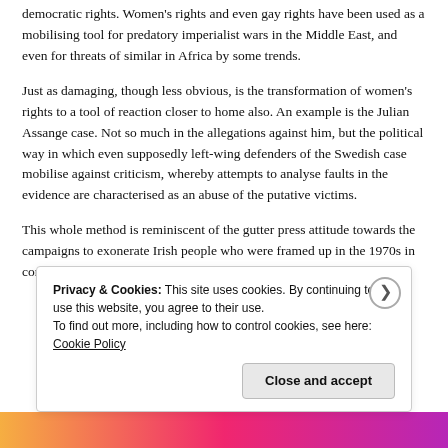democratic rights. Women's rights and even gay rights have been used as a mobilising tool for predatory imperialist wars in the Middle East, and even for threats of similar in Africa by some trends.
Just as damaging, though less obvious, is the transformation of women's rights to a tool of reaction closer to home also. An example is the Julian Assange case. Not so much in the allegations against him, but the political way in which even supposedly left-wing defenders of the Swedish case mobilise against criticism, whereby attempts to analyse faults in the evidence are characterised as an abuse of the putative victims.
This whole method is reminiscent of the gutter press attitude towards the campaigns to exonerate Irish people who were framed up in the 1970s in connection with the Irish war, with headlines like 'Loony MP supports b... C... '...
Privacy & Cookies: This site uses cookies. By continuing to use this website, you agree to their use. To find out more, including how to control cookies, see here: Cookie Policy